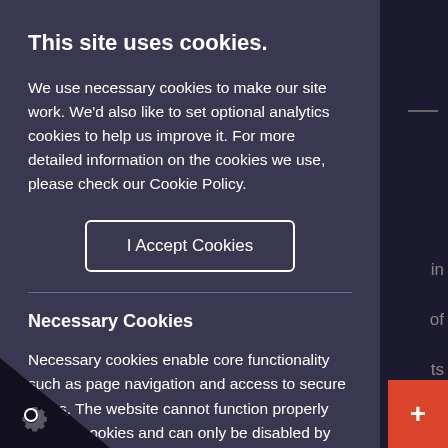This site uses cookies.
We use necessary cookies to make our site work. We'd also like to set optional analytics cookies to help us improve it. For more detailed information on the cookies we use, please check our Cookie Policy.
I Accept Cookies
Necessary Cookies
Necessary cookies enable core functionality such as page navigation and access to secure areas. The website cannot function properly without cookies and can only be disabled by